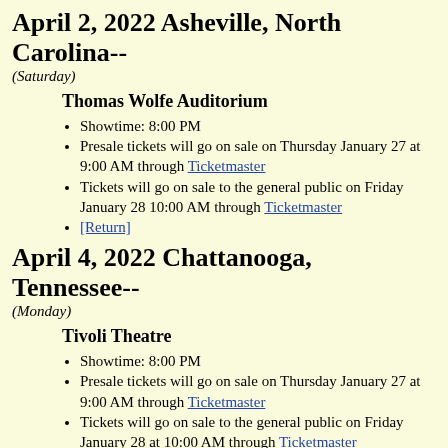April 2, 2022 Asheville, North Carolina-- (Saturday)
Thomas Wolfe Auditorium
Showtime: 8:00 PM
Presale tickets will go on sale on Thursday January 27 at 9:00 AM through Ticketmaster
Tickets will go on sale to the general public on Friday January 28 10:00 AM through Ticketmaster
[Return]
April 4, 2022 Chattanooga, Tennessee-- (Monday)
Tivoli Theatre
Showtime: 8:00 PM
Presale tickets will go on sale on Thursday January 27 at 9:00 AM through Ticketmaster
Tickets will go on sale to the general public on Friday January 28 at 10:00 AM through Ticketmaster
[Return]